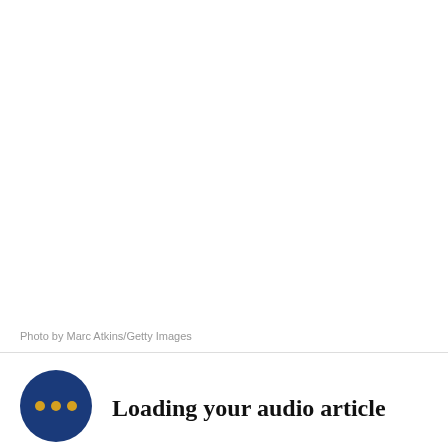Photo by Marc Atkins/Getty Images
[Figure (illustration): Blue circular button with three yellow/gold dots indicating audio loading spinner]
Loading your audio article